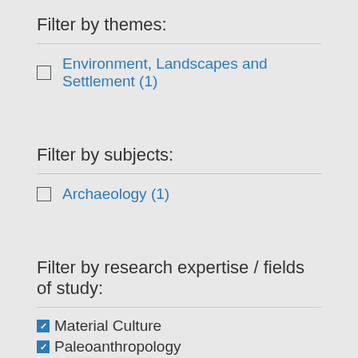Filter by themes:
Environment, Landscapes and Settlement (1)
Filter by subjects:
Archaeology (1)
Filter by research expertise / fields of study:
Material Culture
Paleoanthropology